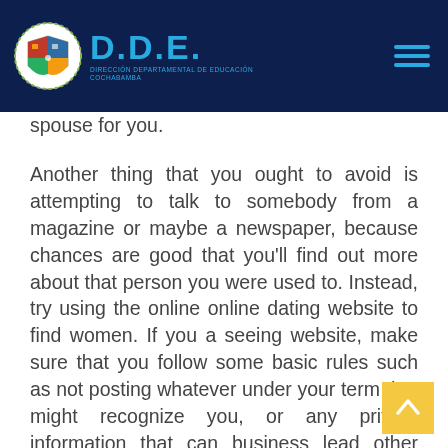D.D.E. DIRECCIÓN DEPARTAMENTAL DE EDUCACIÓN COCHABAMBA
spouse for you.
Another thing that you ought to avoid is attempting to talk to somebody from a magazine or maybe a newspaper, because chances are good that you'll find out more about that person you were used to. Instead, try using the online online dating website to find women. If you a seeing website, make sure that you follow some basic rules such as not posting whatever under your term that might recognize you, or any private information that can business lead other men to contact you.
So , now that you already know the best way to find